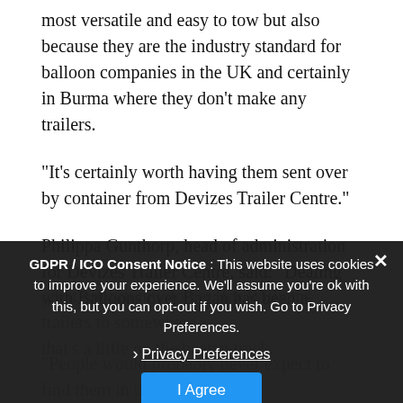most versatile and easy to tow but also because they are the industry standard for balloon companies in the UK and certainly in Burma where they don't make any trailers.
“It’s certainly worth having them sent over by container from Devizes Trailer Centre.”
Philippa Gunthorp, head of administration for Devizes Trailer Centre, said: “Dealing with Balloons over Bagan has been a great opportunity to get Ifor Williams trailers to somewhere that’s a little on the beaten track.
“People would probably never expect to find them in use as far away as Burma but it’s been great to supply the company with so many of the trailers over the past couple of years.
[Figure (screenshot): GDPR / ICO Consent Notice overlay with dark background. Text: 'GDPR / ICO Consent Notice : This website uses cookies to improve your experience. We’ll assume you’re ok with this, but you can opt-out if you wish. Go to Privacy Preferences.' With a close (X) button, a 'Privacy Preferences' link with chevron, and an 'I Agree' blue button.]